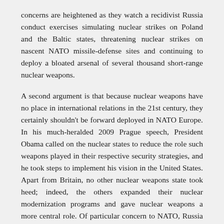concerns are heightened as they watch a recidivist Russia conduct exercises simulating nuclear strikes on Poland and the Baltic states, threatening nuclear strikes on nascent NATO missile-defense sites and continuing to deploy a bloated arsenal of several thousand short-range nuclear weapons.
A second argument is that because nuclear weapons have no place in international relations in the 21st century, they certainly shouldn’t be forward deployed in NATO Europe. In his much-heralded 2009 Prague speech, President Obama called on the nuclear states to reduce the role such weapons played in their respective security strategies, and he took steps to implement his vision in the United States. Apart from Britain, no other nuclear weapons state took heed; indeed, the others expanded their nuclear modernization programs and gave nuclear weapons a more central role. Of particular concern to NATO, Russia has embarked on an across-the-board modernization of its nuclear forces, a modernization judged so important by Moscow that it has violated the Intermediate-Range Nuclear Forces Treaty in the process. As our NATO allies point out, nuclear weapons clearly matter to Russian